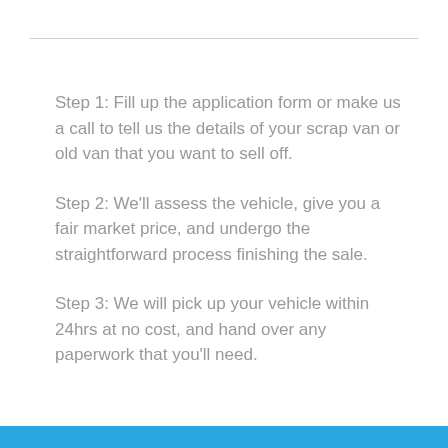Step 1: Fill up the application form or make us a call to tell us the details of your scrap van or old van that you want to sell off.
Step 2: We'll assess the vehicle, give you a fair market price, and undergo the straightforward process finishing the sale.
Step 3: We will pick up your vehicle within 24hrs at no cost, and hand over any paperwork that you'll need.